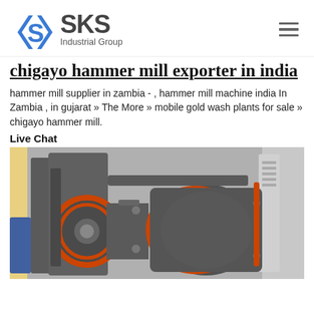SKS Industrial Group
chigayo hammer mill exporter in india
hammer mill supplier in zambia - , hammer mill machine india In Zambia , in gujarat » The More » mobile gold wash plants for sale » chigayo hammer mill.
Live Chat
[Figure (photo): Industrial hammer mill machine, large cylindrical drum in dark gray with orange/red circular rings, photographed in a factory setting.]